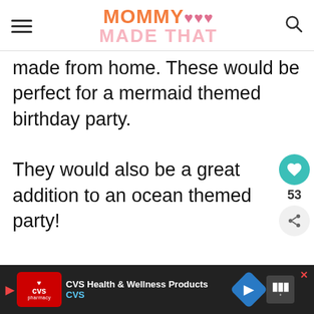MOMMY MADE THAT
made from home. These would be perfect for a mermaid themed birthday party.
They would also be a great addition to an ocean themed party!
To make these you do have to get a
[Figure (screenshot): What's Next banner with Easy Santa Cupcakes thumbnail]
[Figure (screenshot): CVS Health & Wellness Products advertisement banner at bottom of page]